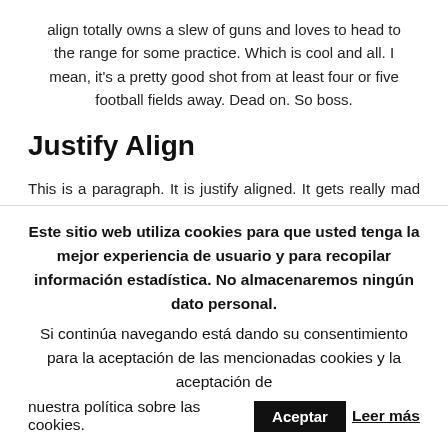align totally owns a slew of guns and loves to head to the range for some practice. Which is cool and all. I mean, it's a pretty good shot from at least four or five football fields away. Dead on. So boss.
Justify Align
This is a paragraph. It is justify aligned. It gets really mad when people associate it with Justin Timberlake. Typically, justified is pretty straight laced. It likes everything to be in it's place and not all cattywampus like the rest of the aligns. I am not saying that makes it better than the rest of the aligns, but it does tend to put off more
Este sitio web utiliza cookies para que usted tenga la mejor experiencia de usuario y para recopilar información estadística. No almacenaremos ningún dato personal. Si continúa navegando está dando su consentimiento para la aceptación de las mencionadas cookies y la aceptación de nuestra política sobre las cookies. Aceptar Leer más